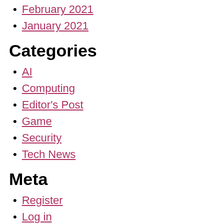February 2021
January 2021
Categories
AI
Computing
Editor's Post
Game
Security
Tech News
Meta
Register
Log in
Entries feed
Comments feed
WordPress.org
Subscribe Newsletter
Subscribe our Newsletter for email notifications & newsletters